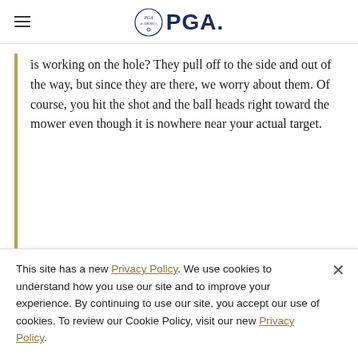PGA
is working on the hole? They pull off to the side and out of the way, but since they are there, we worry about them. Of course, you hit the shot and the ball heads right toward the mower even though it is nowhere near your actual target.
That’s how powerful our focus can be. Why not use that influence
This site has a new Privacy Policy. We use cookies to understand how you use our site and to improve your experience. By continuing to use our site, you accept our use of cookies. To review our Cookie Policy, visit our new Privacy Policy.